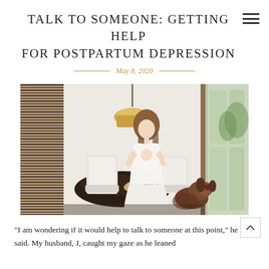TALK TO SOMEONE: GETTING HELP FOR POSTPARTUM DEPRESSION
May 8, 2020
[Figure (photo): A woman in a white dress holding a newborn baby stands near a bright white door with large windows. A dog sits in the foreground. The room has a dining table, white chairs, and a decorative striped mirror or panel on the left wall with a brass pendant light.]
“I am wondering if it would help to talk to someone at this point,” he said. My husband, J, caught my gaze as he leaned